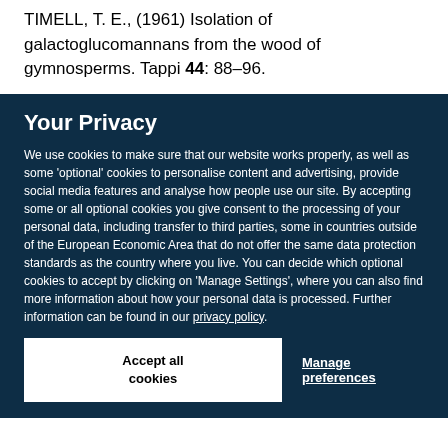TIMELL, T. E., (1961) Isolation of galactoglucomannans from the wood of gymnosperms. Tappi 44: 88–96.
Your Privacy
We use cookies to make sure that our website works properly, as well as some 'optional' cookies to personalise content and advertising, provide social media features and analyse how people use our site. By accepting some or all optional cookies you give consent to the processing of your personal data, including transfer to third parties, some in countries outside of the European Economic Area that do not offer the same data protection standards as the country where you live. You can decide which optional cookies to accept by clicking on 'Manage Settings', where you can also find more information about how your personal data is processed. Further information can be found in our privacy policy.
Accept all cookies
Manage preferences